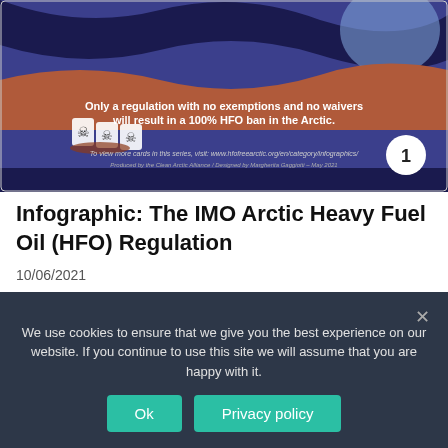[Figure (infographic): Infographic card about IMO Arctic HFO regulation. Purple and dark background with waves. Shows barrels with skull and crossbones. Text reads: 'Only a regulation with no exemptions and no waivers will result in a 100% HFO ban in the Arctic.' Card numbered 1. Footer shows www.hfofreearctic.org/en/category/infographics/ and credits to Clean Arctic Alliance / Margherita Gaggiotti - May 2021.]
Infographic: The IMO Arctic Heavy Fuel Oil (HFO) Regulation
10/06/2021
The IMO's Arctic HFO Regulation will not protect the Arctic for nearly a decade.
We use cookies to ensure that we give you the best experience on our website. If you continue to use this site we will assume that you are happy with it.